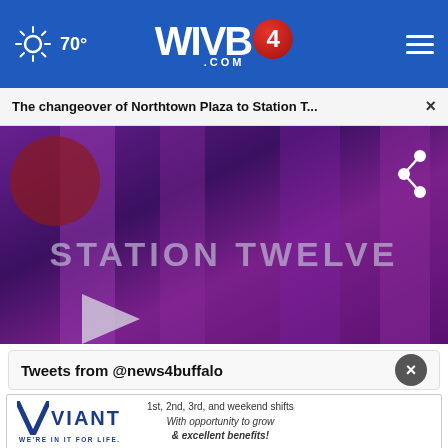70° WIVB4.COM
The changeover of Northtown Plaza to Station T... ×
[Figure (screenshot): Video thumbnail showing 'STATION TWELVE' text on a purple/blue background with a play button and share icon overlay]
Tweets from @news4buffalo
[Figure (logo): Viant advertisement banner: 'VIANT WE'RE IN IT FOR LIFE.' with text '1st, 2nd, 3rd, and weekend shifts With opportunity to grow & excellent benefits!']
Jeff Preval